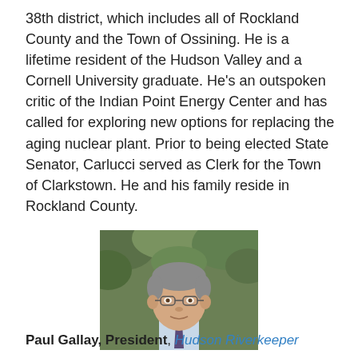38th district, which includes all of Rockland County and the Town of Ossining. He is a lifetime resident of the Hudson Valley and a Cornell University graduate. He’s an outspoken critic of the Indian Point Energy Center and has called for exploring new options for replacing the aging nuclear plant. Prior to being elected State Senator, Carlucci served as Clerk for the Town of Clarkstown. He and his family reside in Rockland County.
[Figure (photo): Headshot photo of a middle-aged man with gray hair and glasses, wearing a light blue shirt and dark tie, with green foliage in the background.]
Paul Gallay, President, Hudson Riverkeeper